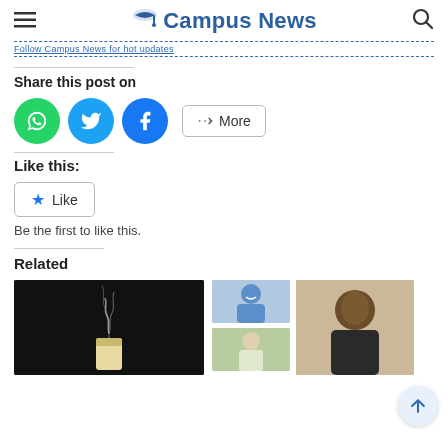Campus News
Follow Campus News for hot updates
Share this post on
[Figure (infographic): Social share buttons: WhatsApp (green circle), Twitter (blue circle), Facebook (blue circle), and a More button]
Like this:
[Figure (infographic): Like button with star icon]
Be the first to like this.
Related
[Figure (photo): A lit candle with smoke rising against a dark background]
[Figure (photo): Two thumbnail photos of people on the right side]